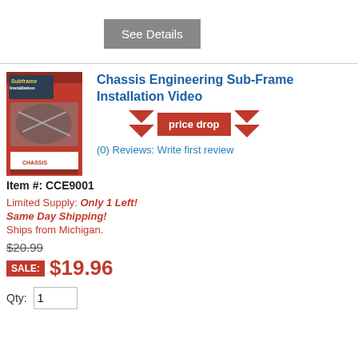See Details
[Figure (photo): Book/video cover for Chassis Engineering Sub-Frame Installation Video, red cover with Subframe Installation text and chassis-related images, Chassis Engineering brand logo at bottom]
Chassis Engineering Sub-Frame Installation Video
[Figure (infographic): Price drop badge with two red downward chevron arrows flanking a red 'price drop' button]
(0) Reviews: Write first review
Item #: CCE9001
Limited Supply: Only 1 Left!
Same Day Shipping!
Ships from Michigan.
$20.99
SALE: $19.96
Qty: 1